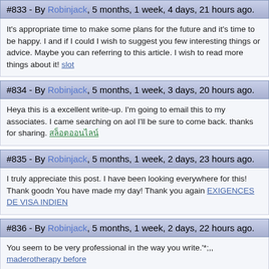#833 - By Robinjack, 5 months, 1 week, 4 days, 21 hours ago.
It's appropriate time to make some plans for the future and it's time to be happy. I and if I could I wish to suggest you few interesting things or advice. Maybe you can referring to this article. I wish to read more things about it! slot
#834 - By Robinjack, 5 months, 1 week, 3 days, 20 hours ago.
Heya this is a excellent write-up. I'm going to email this to my associates. I came searching on aol I'll be sure to come back. thanks for sharing. สล็อตออนไลน์
#835 - By Robinjack, 5 months, 1 week, 2 days, 23 hours ago.
I truly appreciate this post. I have been looking everywhere for this! Thank goodn You have made my day! Thank you again EXIGENCES DE VISA INDIEN
#836 - By Robinjack, 5 months, 1 week, 2 days, 22 hours ago.
You seem to be very professional in the way you write.'*;,, maderotherapy before
#837 - By Robinjack, 5 months, 1 week, 23 hours ago.
How is it that simply anybody can write a website and acquire as widespread as t said something incredibly spectacular –more like youve painted a reasonably pictu you simply recognize nothing concerning I don't want to sound mean, here. but do